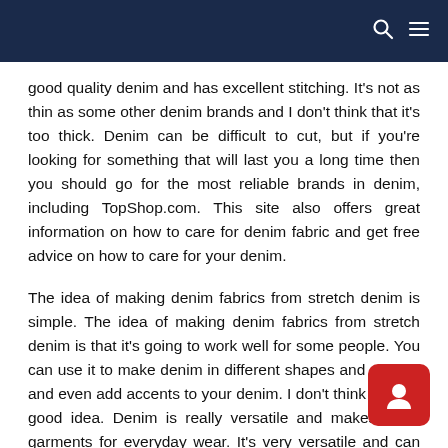good quality denim and has excellent stitching. It's not as thin as some other denim brands and I don't think that it's too thick. Denim can be difficult to cut, but if you're looking for something that will last you a long time then you should go for the most reliable brands in denim, including TopShop.com. This site also offers great information on how to care for denim fabric and get free advice on how to care for your denim.
The idea of making denim fabrics from stretch denim is simple. The idea of making denim fabrics from stretch denim is that it's going to work well for some people. You can use it to make denim in different shapes and colours and even add accents to your denim. I don't think that's a good idea. Denim is really versatile and makes great garments for everyday wear. It's very versatile and can create anything you want.
There are so many different styles of denim that have been designed in different shapes and sizes. They all have their own individual styling and style, but there are also some who use the same style of denim as a couple of years ago. The biggest